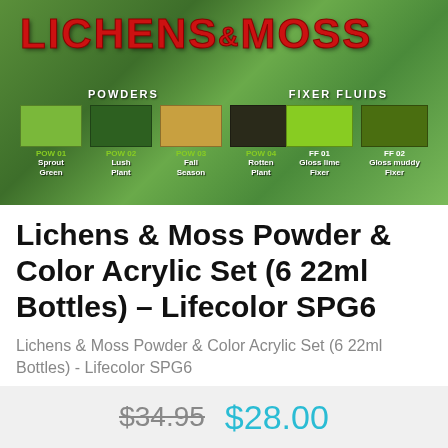[Figure (photo): Lichens & Moss product packaging image showing powders and fixer fluids with color swatches: POW 01 Sprout Green, POW 02 Lush Plant, POW 03 Fall Season, POW 04 Rotten Plant, FF 01 Gloss lime Fixer, FF 02 Gloss muddy Fixer]
Lichens & Moss Powder & Color Acrylic Set (6 22ml Bottles) - Lifecolor SPG6
Lichens & Moss Powder & Color Acrylic Set (6 22ml Bottles) - Lifecolor SPG6
$34.95  $28.00